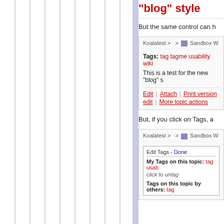"blog" style
But the same control can h
[Figure (screenshot): Wiki page screenshot showing breadcrumb navigation 'Koalatest > > Sandbox W', tags: tag tagme usability wiki, text 'This is a test for the new "blog" s', and action links Edit | Attach | Print version, edit | More topic actions]
But, if you click on Tags, a
[Figure (screenshot): Wiki page screenshot showing breadcrumb 'Koalatest > > Sandbox W', with an Edit Tags panel - Done, showing 'My Tags on this topic: tag usab, click to untag', and 'Tags on this topic by others: tag']